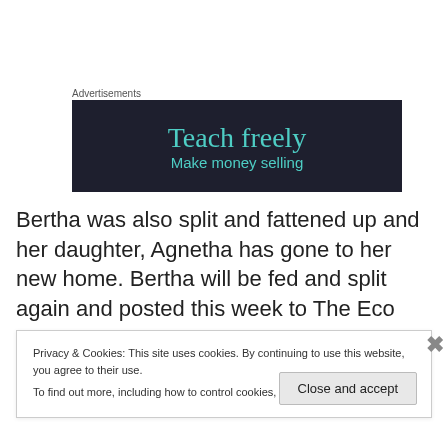Advertisements
[Figure (screenshot): Advertisement banner with dark navy background showing 'Teach freely' in large teal serif font and 'Make money selling' in smaller teal text below]
Bertha was also split and fattened up and her daughter, Agnetha has gone to her new home. Bertha will be fed and split again and posted this week to The Eco Mum and
Privacy & Cookies: This site uses cookies. By continuing to use this website, you agree to their use.
To find out more, including how to control cookies, see here: Cookie Policy
Close and accept